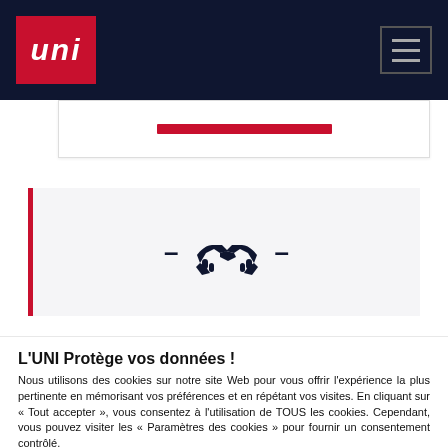UNI
[Figure (illustration): Handshake icon with dashes on either side, displayed in a light grey section with a red left border]
L'UNI Protège vos données !
Nous utilisons des cookies sur notre site Web pour vous offrir l'expérience la plus pertinente en mémorisant vos préférences et en répétant vos visites. En cliquant sur « Tout accepter », vous consentez à l'utilisation de TOUS les cookies. Cependant, vous pouvez visiter les « Paramètres des cookies » pour fournir un consentement contrôlé.
Paramètre Des Cookies
Tout Accepter